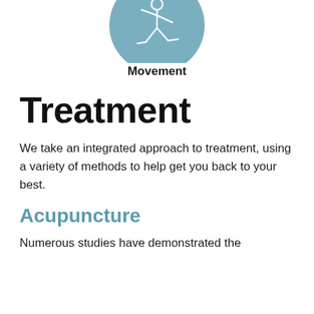[Figure (illustration): A circular teal/steel-blue icon showing a simplified human figure in motion (movement icon), partially cropped at the top of the page]
Movement
Treatment
We take an integrated approach to treatment, using a variety of methods to help get you back to your best.
Acupuncture
Numerous studies have demonstrated the